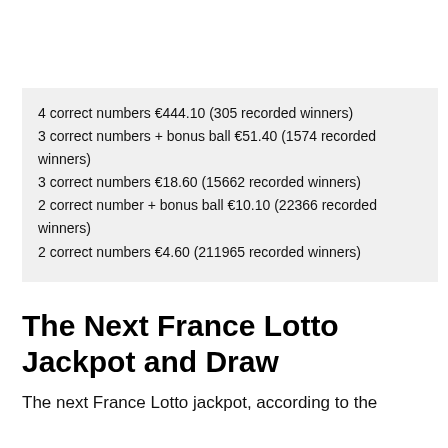4 correct numbers €444.10 (305 recorded winners)
3 correct numbers + bonus ball €51.40 (1574 recorded winners)
3 correct numbers €18.60 (15662 recorded winners)
2 correct number + bonus ball €10.10 (22366 recorded winners)
2 correct numbers €4.60 (211965 recorded winners)
The Next France Lotto Jackpot and Draw
The next France Lotto jackpot, according to the